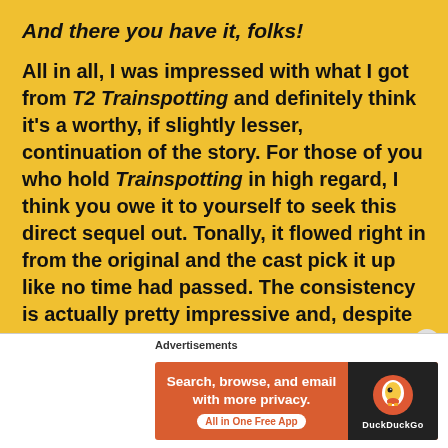And there you have it, folks!
All in all, I was impressed with what I got from T2 Trainspotting and definitely think it's a worthy, if slightly lesser, continuation of the story. For those of you who hold Trainspotting in high regard, I think you owe it to yourself to seek this direct sequel out. Tonally, it flowed right in from the original and the cast pick it up like no time had passed. The consistency is actually pretty impressive and, despite a couple lags midway along, T2 moves along at an entertaining speed. The
Advertisements
[Figure (screenshot): DuckDuckGo advertisement banner: 'Search, browse, and email with more privacy. All in One Free App' with DuckDuckGo logo on dark background]